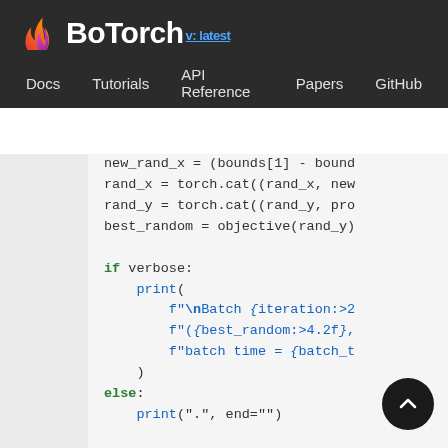BoTorch v: latest — Docs  Tutorials  API Reference  Papers  GitHub
≡  ›  ⋮
new_rand_x = (bounds[1] - bound
rand_x = torch.cat((rand_x, new
rand_y = torch.cat((rand_y, pro
best_random = objective(rand_y)

if verbose:
    print(
        f"\nBatch {iteration:>2
        f"({best_random:>4.2f},
        f"batch time = {batch_t
    )
else:
    print(".", end="")